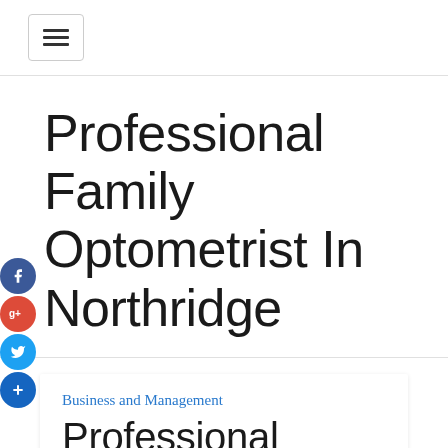[Figure (other): Hamburger menu button icon with three horizontal lines inside a rounded rectangle border]
Professional Family Optometrist In Northridge
[Figure (other): Social media icons on left side: Facebook (blue), Google+ (red), Twitter (light blue), Plus (dark blue)]
Business and Management
Professional